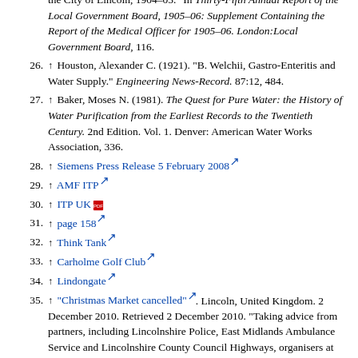the City of Lincoln, 1904–05." In Thirty-Fifth Annual Report of the Local Government Board, 1905–06: Supplement Containing the Report of the Medical Officer for 1905–06. London:Local Government Board, 116.
26. ↑ Houston, Alexander C. (1921). "B. Welchii, Gastro-Enteritis and Water Supply." Engineering News-Record. 87:12, 484.
27. ↑ Baker, Moses N. (1981). The Quest for Pure Water: the History of Water Purification from the Earliest Records to the Twentieth Century. 2nd Edition. Vol. 1. Denver: American Water Works Association, 336.
28. ↑ Siemens Press Release 5 February 2008
29. ↑ AMF ITP
30. ↑ ITP UK
31. ↑ page 158
32. ↑ Think Tank
33. ↑ Carholme Golf Club
34. ↑ Lindongate
35. ↑ "Christmas Market cancelled". Lincoln, United Kingdom. 2 December 2010. Retrieved 2 December 2010. "Taking advice from partners, including Lincolnshire Police, East Midlands Ambulance Service and Lincolnshire County Council Highways, organisers at Lincoln Council have taken the decision to cancel the event.